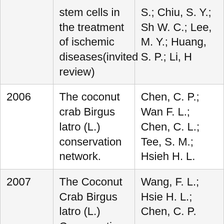| Year | Title | Authors |
| --- | --- | --- |
|  | stem cells in the treatment of ischemic diseases(invited review) | S.; Chiu, S. Y.; Sh W. C.; Lee, M. Y.; Huang, S. P.; Li, H |
| 2006 | The coconut crab Birgus latro (L.) conservation network. | Chen, C. P.; Wan F. L.; Chen, C. L.; Tee, S. M.; Hsieh H. L. |
| 2007 | The Coconut Crab Birgus latro (L.) Conservation Network. | Wang, F. L.; Hsie H. L.; Chen, C. P. |
| 2007 | The Coconut Crab Birgus latro (L.) Conservation Network. The Inaugural Meeting | Wang, F. L.; Hsie H. L.; Chen, C. P. |